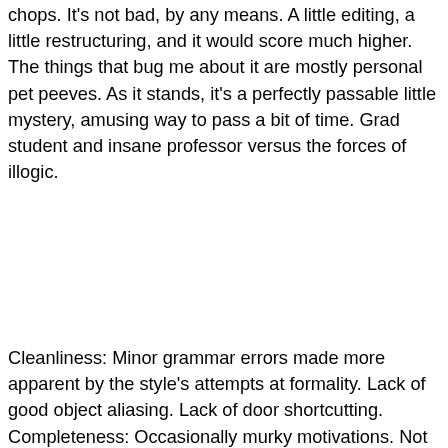chops. It's not bad, by any means. A little editing, a little restructuring, and it would score much higher. The things that bug me about it are mostly personal pet peeves. As it stands, it's a perfectly passable little mystery, amusing way to pass a bit of time. Grad student and insane professor versus the forces of illogic.
Cleanliness: Minor grammar errors made more apparent by the style's attempts at formality. Lack of good object aliasing. Lack of door shortcutting. Completeness: Occasionally murky motivations. Not enough conversational topics.
Coolness: Well, it's a lot more interesting than farm animals. At least somewhat inspiring.
Bonus: The ingame hint system prevents you from LOSING points for the annoyingly-placed walkthrough. :)
Score: 6
Identity, by Dave Bernazzani
V unir nzarfyn. Ahss fnyq,